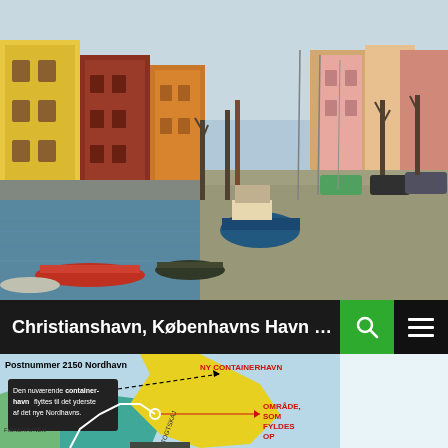[Figure (photo): Christianshavn canal in Copenhagen with colorful buildings on the left and boats moored along the waterway, cars parked on the right side promenade with bare trees.]
Christianshavn, Københavns Havn og de ...
[Figure (map): Map of Postnummer 2150 Nordhavn showing NY CONTAINERHAVN (red label, yellow area), a black text box explaining the container port will be moved to the outermost part of the new Nordhavn, OMRÅDE SOM FYLDES OP label in red, FISKEHAVNEN label, and TOGTSKAJ label. Green and teal areas show existing harbor zones.]